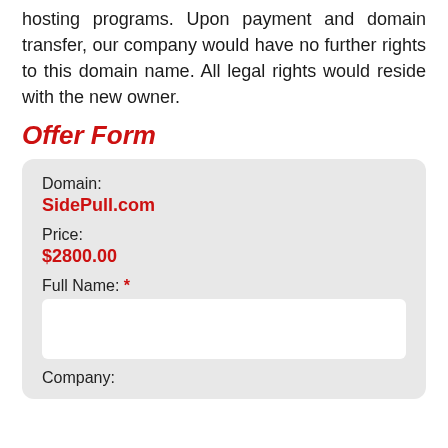hosting programs. Upon payment and domain transfer, our company would have no further rights to this domain name. All legal rights would reside with the new owner.
Offer Form
Domain: SidePull.com
Price: $2800.00
Full Name: *
Company: